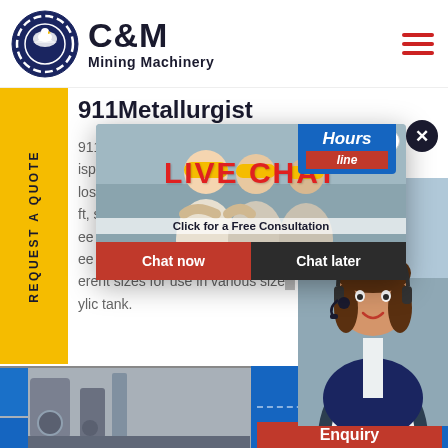[Figure (logo): C&M Mining Machinery logo with eagle/gear emblem in dark blue circle]
C&M Mining Machinery
911Metallurgist
911MPE-D12-A laboratory flotation machine has suspended closed and ft, stainless ee changeable ee removable stainless open ty erent sizes for use in various size ylic tank.
[Figure (infographic): Live Chat popup overlay with workers in hard hats, LIVE CHAT heading in red, Click for a Free Consultation text, Chat now and Chat later buttons, and female agent with headset on right side]
[Figure (photo): Bottom strip showing mining machinery equipment photo on left, and blue Click to Chat / Enquiry panel on right]